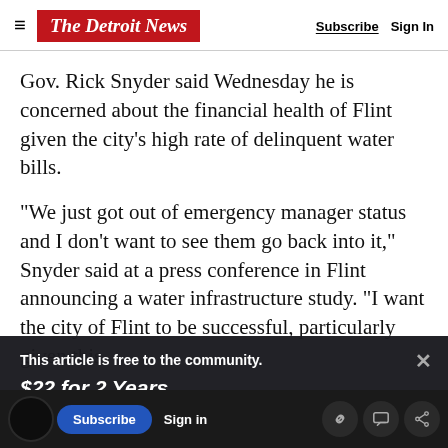The Detroit News — Subscribe | Sign In
Gov. Rick Snyder said Wednesday he is concerned about the financial health of Flint given the city's high rate of delinquent water bills.
“We just got out of emergency manager status and I don’t want to see them go back into it,” Snyder said at a press conference in Flint announcing a water infrastructure study. “I want the city of Flint to be successful, particularly given this
This article is free to the community.
$22 for 2 Years.
Subscribe now